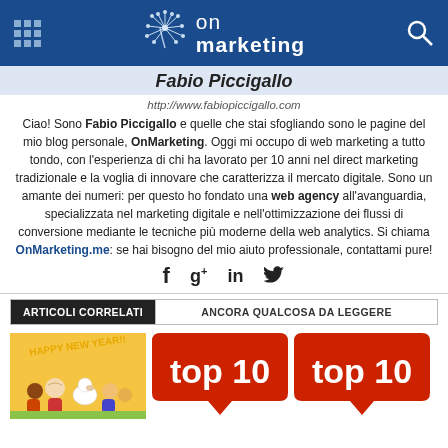on marketing
Fabio Piccigallo
http://www.fabiopiccigallo.com
Ciao! Sono Fabio Piccigallo e quelle che stai sfogliando sono le pagine del mio blog personale, OnMarketing. Oggi mi occupo di web marketing a tutto tondo, con l'esperienza di chi ha lavorato per 10 anni nel direct marketing tradizionale e la voglia di innovare che caratterizza il mercato digitale. Sono un amante dei numeri: per questo ho fondato una web agency all'avanguardia, specializzata nel marketing digitale e nell'ottimizzazione dei flussi di conversione mediante le tecniche più moderne della web analytics. Si chiama OnMarketing.me: se hai bisogno del mio aiuto professionale, contattami pure!
[Figure (infographic): Social media icons: Facebook (f), Google+ (g+), LinkedIn (in), Twitter bird]
ARTICOLI CORRELATI | ANCORA QUALCOSA DA LEGGERE
[Figure (photo): Happy New Year illustration with Peanuts/Snoopy cartoon characters]
[Figure (infographic): Red speech bubble badge with white text: top 10]
[Figure (infographic): Red speech bubble badge with white text: top 10]